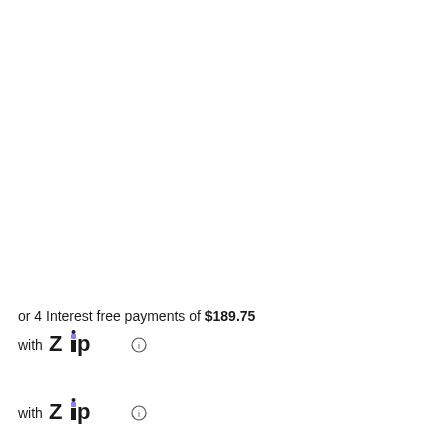or 4 Interest free payments of $189.75
with Zip (i)
with Zip (i)